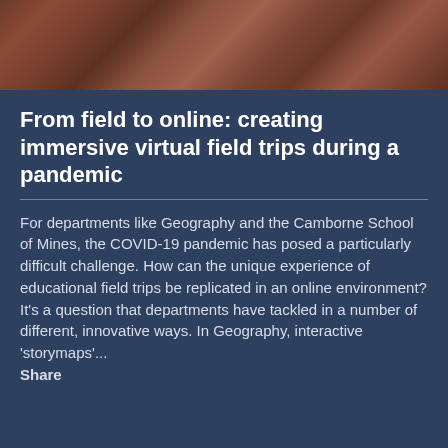[Figure (photo): Aerial or satellite view of rocky terrain with winding geological formations in reddish-brown tones]
From field to online: creating immersive virtual field trips during a pandemic
For departments like Geography and the Camborne School of Mines, the COVID-19 pandemic has posed a particularly difficult challenge. How can the unique experience of educational field trips be replicated in an online environment? It's a question that departments have tackled in a number of different, innovative ways. In Geography, interactive 'storymaps'...
Share